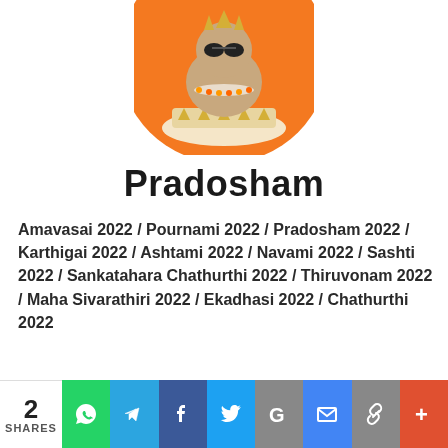[Figure (illustration): Circular orange illustration of a Hindu deity (Nandi/Shiva related) sitting on a decorated base, partially cropped at top of page]
Pradosham
Amavasai 2022 / Pournami 2022 / Pradosham 2022 / Karthigai 2022 / Ashtami 2022 / Navami 2022 / Sashti 2022 / Sankatahara Chathurthi 2022 / Thiruvonam 2022 / Maha Sivarathiri 2022 / Ekadhasi 2022 / Chathurthi 2022
| Year - 2022 | Amavasai | Pournami | Pradosham |
| --- | --- | --- | --- |
| January | 02 Sun | 17 Mon | 15 Sat |
2 SHARES | WhatsApp | Telegram | Facebook | Twitter | Google | Email | Link | More